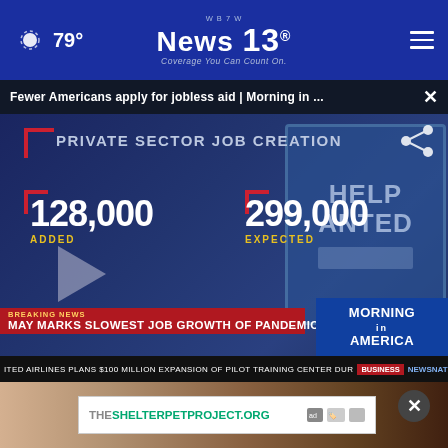79° W B 7 W News 13 Coverage You Can Count On.
Fewer Americans apply for jobless aid | Morning in ...
[Figure (screenshot): TV news screenshot showing PRIVATE SECTOR JOB CREATION graphic with 128,000 ADDED and 299,000 EXPECTED. Breaking news banner: MAY MARKS SLOWEST JOB GROWTH OF PANDEMIC RECOVERY. Bottom ticker: ITED AIRLINES PLANS $100 MILLION EXPANSION OF PILOT TRAINING CENTER. Morning in America box visible. Help Wanted sign in background.]
[Figure (photo): Close-up photo of hands holding a crayon or marker, brownish tones.]
THESHELTERPETPROJECT.ORG